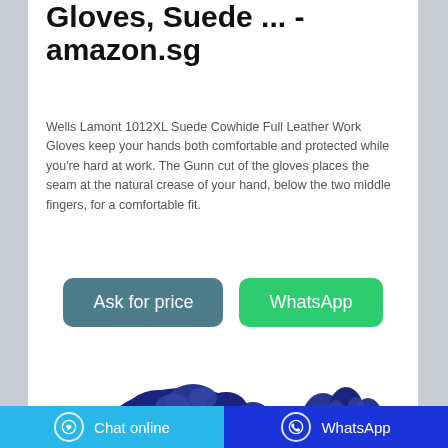Gloves, Suede ... - amazon.sg
Wells Lamont 1012XL Suede Cowhide Full Leather Work Gloves keep your hands both comfortable and protected while you're hard at work. The Gunn cut of the gloves places the seam at the natural crease of your hand, below the two middle fingers, for a comfortable fit.
[Figure (screenshot): Two buttons: 'Ask for price' (teal/dark cyan) and 'WhatsApp' (green)]
[Figure (photo): Blue leather work gloves, partially visible at bottom of page]
Chat online    WhatsApp